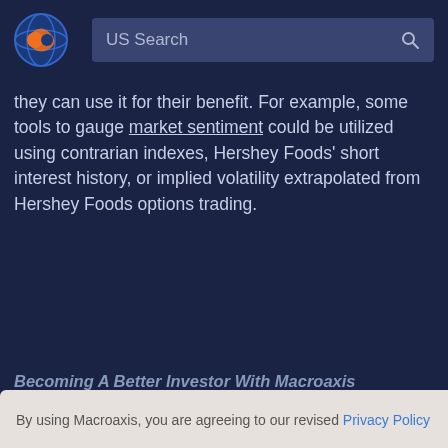[Figure (logo): Macroaxis logo – orange and blue circular globe icon]
US Search
they can use it for their benefit. For example, some tools to gauge market sentiment could be utilized using contrarian indexes, Hershey Foods' short interest history, or implied volatility extrapolated from Hershey Foods options trading.
Becoming A Better Investor With Macroaxis
By using Macroaxis, you are agreeing to our revised Privacy Policy
OK